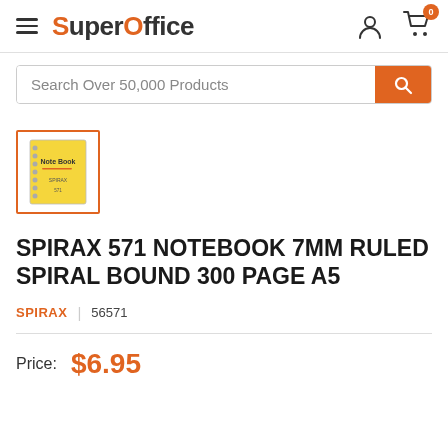SuperOffice — navigation header with hamburger menu, logo, user icon, and cart (0 items)
Search Over 50,000 Products
[Figure (photo): Product thumbnail image of a yellow Spirax 571 notebook with spiral binding, shown in a square frame with orange border]
SPIRAX 571 NOTEBOOK 7MM RULED SPIRAL BOUND 300 PAGE A5
SPIRAX   |   56571
Price:  $6.95